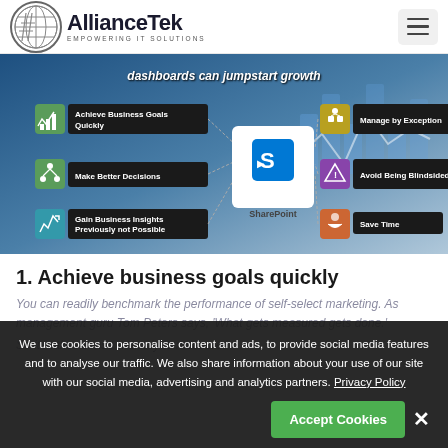AllianceTek — Empowering IT Solutions
[Figure (infographic): SharePoint infographic showing 6 benefits connected to a central SharePoint logo: Achieve Business Goals Quickly, Make Better Decisions, Gain Business Insights Previously not Possible (left side), Manage by Exception, Avoid Being Blindsided, Save Time (right side). Background shows analytics dashboard. Title: 'dashboards can jumpstart growth']
1. Achieve business goals quickly
You can readily benchmark the performance of self-select marketing. As management guru Tom Peters says, 'What gets measured gets done.'
So it makes sense not only to measure
We use cookies to personalise content and ads, to provide social media features and to analyse our traffic. We also share information about your use of our site with our social media, advertising and analytics partners. Privacy Policy